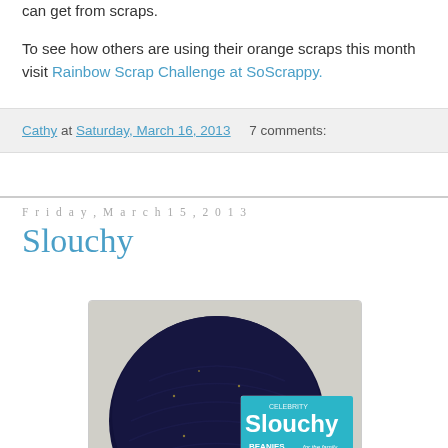can get from scraps.
To see how others are using their orange scraps this month visit Rainbow Scrap Challenge at SoScrappy.
Cathy at Saturday, March 16, 2013   7 comments:
Friday, March 15, 2013
Slouchy
[Figure (photo): A dark navy blue slouchy knit beanie hat displayed next to a magazine titled 'Celebrity Slouchy Beanies for the family' showing a woman wearing a white slouchy hat and sunglasses]